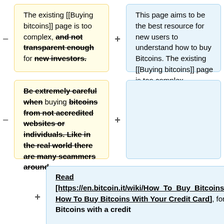The existing [[Buying bitcoins]] page is too complex, and not transparent enough for new investors.
This page aims to be the best resource for new users to understand how to buy Bitcoins. The existing [[Buying bitcoins]] page is too complex.
Be extremely careful when buying bitcoins from not accredited websites or individuals. Like in the real world there are many scammers around.
Read [https://en.bitcoin.it/wiki/How_To_Buy_Bitcoins_With_Your_Credit_Card How To Buy Bitcoins With Your Credit Card], for information about buying Bitcoins with a credit card.